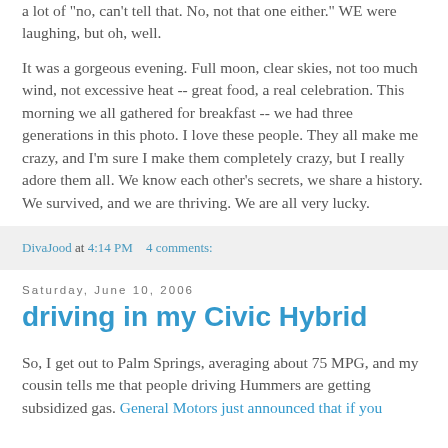a lot of "no, can't tell that. No, not that one either." WE were laughing, but oh, well.
It was a gorgeous evening. Full moon, clear skies, not too much wind, not excessive heat -- great food, a real celebration. This morning we all gathered for breakfast -- we had three generations in this photo. I love these people. They all make me crazy, and I'm sure I make them completely crazy, but I really adore them all. We know each other's secrets, we share a history. We survived, and we are thriving. We are all very lucky.
DivaJood at 4:14 PM    4 comments:
Saturday, June 10, 2006
driving in my Civic Hybrid
So, I get out to Palm Springs, averaging about 75 MPG, and my cousin tells me that people driving Hummers are getting subsidized gas. General Motors just announced that if you